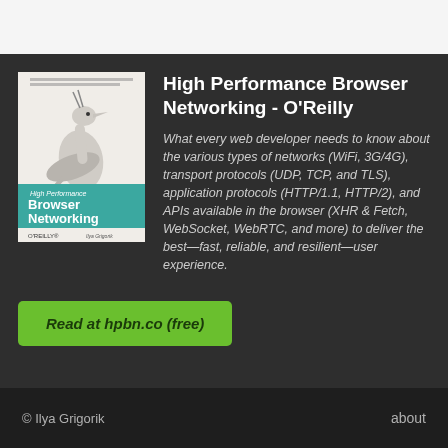[Figure (illustration): Book cover of 'High Performance Browser Networking' by O'Reilly, featuring a bird illustration, teal lower section with title text, O'REILLY logo and author name Ilya Grigorik]
High Performance Browser Networking - O'Reilly
What every web developer needs to know about the various types of networks (WiFi, 3G/4G), transport protocols (UDP, TCP, and TLS), application protocols (HTTP/1.1, HTTP/2), and APIs available in the browser (XHR & Fetch, WebSocket, WebRTC, and more) to deliver the best—fast, reliable, and resilient—user experience.
Read at hpbn.co (free)
© Ilya Grigorik    about